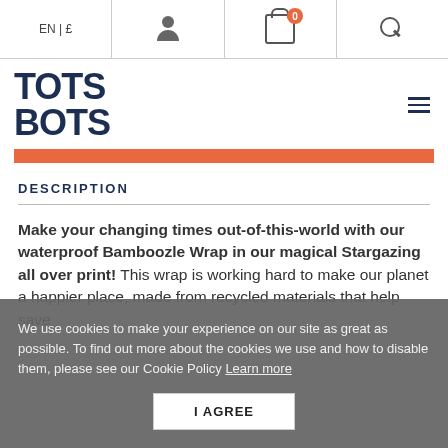EN | £  [person icon]  [cart icon: 0]  [search icon]
[Figure (logo): Tots Bots logo in dark navy blue, bold block letters]
DESCRIPTION
Make your changing times out-of-this-world with our waterproof Bamboozle Wrap in our magical Stargazing all over print! This wrap is working hard to make our planet a happier place, made from recycled materials that help save
We use cookies to make your experience on our site as great as possible. To find out more about the cookies we use and how to disable them, please see our Cookie Policy Learn more
I AGREE